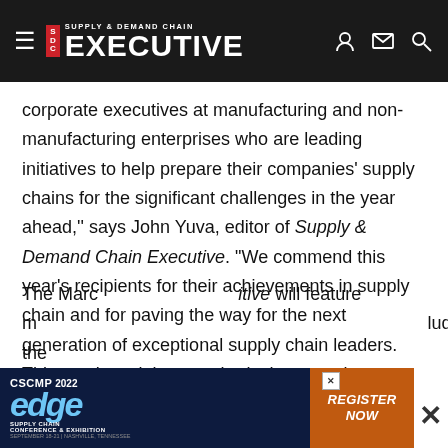Supply & Demand Chain Executive
corporate executives at manufacturing and non-manufacturing enterprises who are leading initiatives to help prepare their companies' supply chains for the significant challenges in the year ahead,'' says John Yuva, editor of Supply & Demand Chain Executive. "We commend this year's recipients for their achievements in supply chain and for paving the way for the next generation of exceptional supply chain leaders. This year's recipients embody the commitment to transformative supply chain tools and processes, earning these individuals a rightful place in this year's Pros to Know listing."
The Marc... itive will feature m... luding the
[Figure (screenshot): CSCMP 2022 Edge Supply Chain Conference & Exhibition advertisement banner with Register Now button]